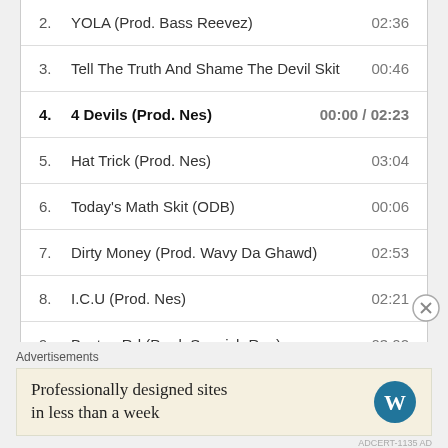2. YOLA (Prod. Bass Reevez)  02:36
3. Tell The Truth And Shame The Devil Skit  00:46
4. 4 Devils (Prod. Nes)  00:00 / 02:23
5. Hat Trick (Prod. Nes)  03:04
6. Today's Math Skit (ODB)  00:06
7. Dirty Money (Prod. Wavy Da Ghawd)  02:53
8. I.C.U (Prod. Nes)  02:21
9. Boston Rd (Prod. Spanish Ran)  03:02
10. Bloody Sycamores (Prod. Nes)  02:49
Advertisements
Professionally designed sites in less than a week